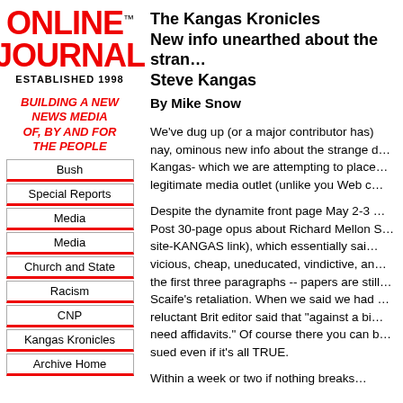[Figure (logo): Online Journal logo with red bold text ONLINE JOURNAL, ESTABLISHED 1998]
BUILDING A NEW NEWS MEDIA OF, BY AND FOR THE PEOPLE
Bush
Special Reports
Media
Media
Church and State
Racism
CNP
Kangas Kronicles
Archive Home
The Kangas Kronicles
New info unearthed about the stran… Steve Kangas
By Mike Snow
We've dug up (or a major contributor has) nay, ominous new info about the strange d… Kangas- which we are attempting to place… legitimate media outlet (unlike you Web c…
Despite the dynamite front page May 2-3 … Post 30-page opus about Richard Mellon S… site-KANGAS link), which essentially sai… vicious, cheap, uneducated, vindictive, an… the first three paragraphs -- papers are still… Scaife's retaliation. When we said we had … reluctant Brit editor said that "against a bi… need affidavits." Of course there you can b… sued even if it's all TRUE.
Within a week or two if nothing breaks…